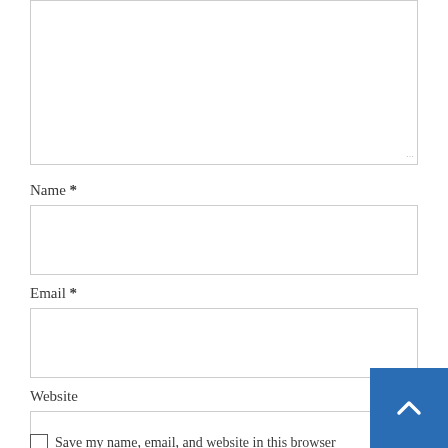[Figure (screenshot): Comment form textarea (top portion, cropped), empty white text input box with resize handle at bottom right]
Name *
[Figure (screenshot): Name input field, empty white rectangular text box]
Email *
[Figure (screenshot): Email input field, empty white rectangular text box]
Website
[Figure (screenshot): Website input field, empty white rectangular text box, with blue back-to-top button overlapping right side]
Save my name, email, and website in this browser